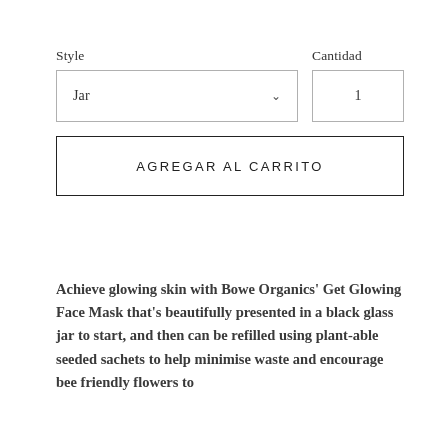Style
Cantidad
Jar
1
AGREGAR AL CARRITO
Achieve glowing skin with Bowe Organics' Get Glowing Face Mask that's beautifully presented in a black glass jar to start, and then can be refilled using plant-able seeded sachets to help minimise waste and encourage bee friendly flowers to